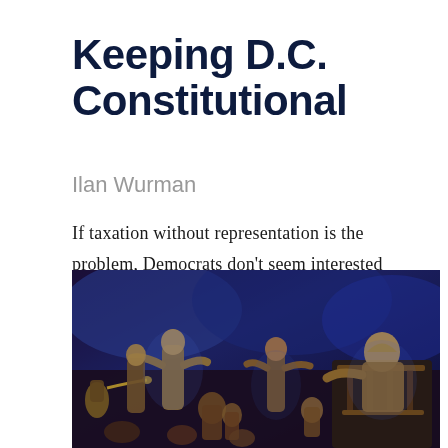Keeping D.C. Constitutional
Ilan Wurman
If taxation without representation is the problem, Democrats don't seem interested in solutions.
[Figure (illustration): A colorized classical/historical illustration showing a crowd scene with robed figures, trumpeters, and a person seated on a throne or elevated position, rendered in blue and brown tones.]